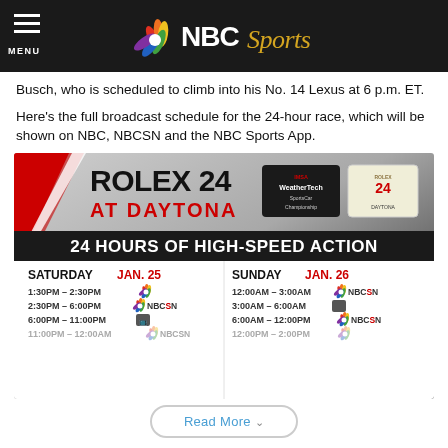[Figure (logo): NBC Sports website header bar with hamburger menu icon, MENU text, and NBC Sports peacock logo in white and gold on dark background]
Busch, who is scheduled to climb into his No. 14 Lexus at 6 p.m. ET.
Here's the full broadcast schedule for the 24-hour race, which will be shown on NBC, NBCSN and the NBC Sports App.
[Figure (infographic): Rolex 24 At Daytona broadcast schedule graphic. Shows '24 HOURS OF HIGH-SPEED ACTION' with schedule for Saturday Jan. 25 (1:30PM-2:30PM NBC peacock, 2:30PM-6:00PM NBCSN, 6:00PM-11:00PM, 11:00PM-12:00AM NBCSN) and Sunday Jan. 26 (12:00AM-3:00AM NBCSN, 3:00AM-6:00AM, 6:00AM-12:00PM NBCSN, 12:00PM-2:00PM NBC peacock). Includes IMSA WeatherTech SportsCar Championship and Rolex 24 Daytona logos.]
Read More